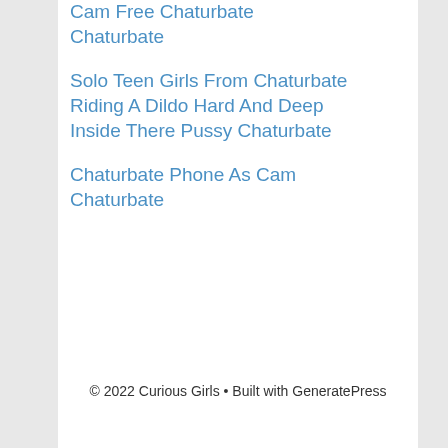Cam Free Chaturbate Chaturbate
Solo Teen Girls From Chaturbate Riding A Dildo Hard And Deep Inside There Pussy Chaturbate
Chaturbate Phone As Cam Chaturbate
© 2022 Curious Girls • Built with GeneratePress